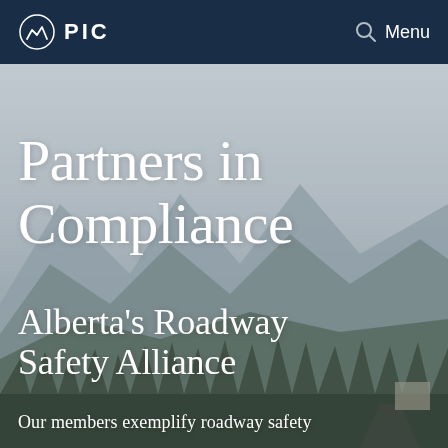PIC  Menu
[Figure (photo): Scenic mountain landscape with evergreen trees and misty mountains in the background, used as hero image background for the PIC website]
Partners in Compliance
Alberta's Roadway Safety Alliance
Our members exemplify roadway safety